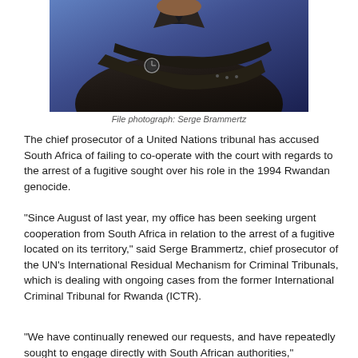[Figure (photo): File photograph of Serge Brammertz, a man in a dark jacket with arms crossed, wearing a watch, against a blue background]
File photograph: Serge Brammertz
The chief prosecutor of a United Nations tribunal has accused South Africa of failing to co-operate with the court with regards to the arrest of a fugitive sought over his role in the 1994 Rwandan genocide.
"Since August of last year, my office has been seeking urgent cooperation from South Africa in relation to the arrest of a fugitive located on its territory," said Serge Brammertz, chief prosecutor of the UN's International Residual Mechanism for Criminal Tribunals, which is dealing with ongoing cases from the former International Criminal Tribunal for Rwanda (ICTR).
"We have continually renewed our requests, and have repeatedly sought to engage directly with South African authorities,"